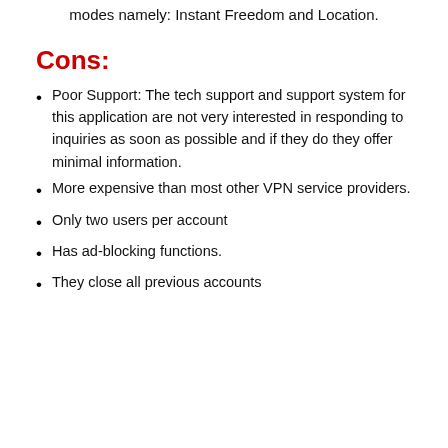modes namely: Instant Freedom and Location.
Cons:
Poor Support: The tech support and support system for this application are not very interested in responding to inquiries as soon as possible and if they do they offer minimal information.
More expensive than most other VPN service providers.
Only two users per account
Has ad-blocking functions.
They close all previous accounts